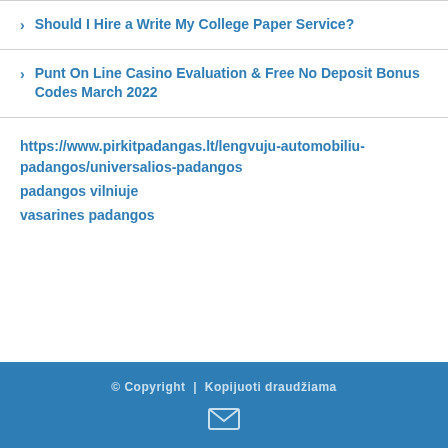Should I Hire a Write My College Paper Service?
Punt On Line Casino Evaluation & Free No Deposit Bonus Codes March 2022
https://www.pirkitpadangas.lt/lengvuju-automobiliu-padangos/universalios-padangos
padangos vilniuje
vasarines padangos
© Copyright | Kopijuoti draudžiama